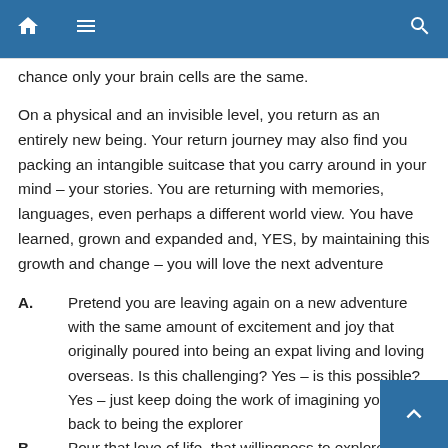home menu search
chance only your brain cells are the same.
On a physical and an invisible level, you return as an entirely new being. Your return journey may also find you packing an intangible suitcase that you carry around in your mind – your stories. You are returning with memories, languages, even perhaps a different world view. You have learned, grown and expanded and, YES, by maintaining this growth and change – you will love the next adventure
A. Pretend you are leaving again on a new adventure with the same amount of excitement and joy that originally poured into being an expat living and loving overseas. Is this challenging? Yes – is this possible? Yes – just keep doing the work of imagining yourself back to being the explorer
B. Pour that love of life, that willingness to explore, that sense of pushing back your boundaries (let's face it – you